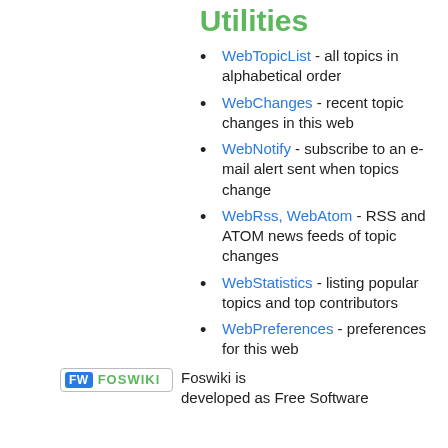Utilities
WebTopicList - all topics in alphabetical order
WebChanges - recent topic changes in this web
WebNotify - subscribe to an e-mail alert sent when topics change
WebRss, WebAtom - RSS and ATOM news feeds of topic changes
WebStatistics - listing popular topics and top contributors
WebPreferences - preferences for this web
FW FOSWIKI Foswiki is developed as Free Software